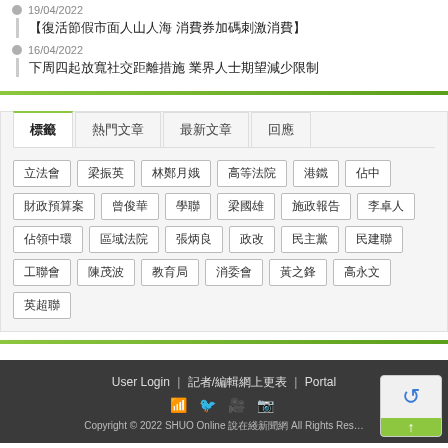19/04/2022
【復活節假市面人山人海 消費券加碼刺激消費】
16/04/2022
下周四起放寬社交距離措施 業界人士期望減少限制
標籤  熱門文章  最新文章  回應
立法會
梁振英
林鄭月娥
高等法院
港鐵
佔中
財政預算案
曾俊華
學聯
梁國雄
施政報告
李卓人
佔領中環
區域法院
張炳良
政改
民主黨
民建聯
工聯會
陳茂波
教育局
消委會
黃之鋒
高永文
英超聯
User Login | 記者/編輯網上更表 | Portal
Copyright © 2022 SHUO Online 說在綫新聞網 All Rights Reserved